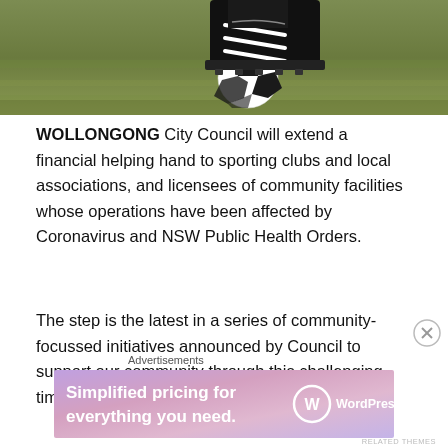[Figure (photo): Close-up photo of a soccer player's foot in a black Adidas cleat resting on a black-and-white soccer ball on a grass field]
WOLLONGONG City Council will extend a financial helping hand to sporting clubs and local associations, and licensees of community facilities whose operations have been affected by Coronavirus and NSW Public Health Orders.
The step is the latest in a series of community-focussed initiatives announced by Council to support our community through this challenging time.
Advertisements
[Figure (other): WordPress.com advertisement banner: 'Simplified pricing for everything you need.' with WordPress.com logo on gradient purple/pink background]